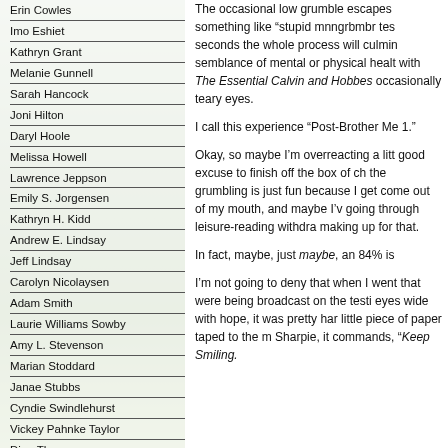Erin Cowles
Imo Eshiet
Kathryn Grant
Melanie Gunnell
Sarah Hancock
Joni Hilton
Daryl Hoole
Melissa Howell
Lawrence Jeppson
Emily S. Jorgensen
Kathryn H. Kidd
Andrew E. Lindsay
Jeff Lindsay
Carolyn Nicolaysen
Adam Smith
Laurie Williams Sowby
Amy L. Stevenson
Marian Stoddard
Janae Stubbs
Cyndie Swindlehurst
Vickey Pahnke Taylor
Dian Thomas
Nauvoo Times Guest
The occasional low grumble escapes something like “stupid mnngrbmbr tes seconds the whole process will culmin semblance of mental or physical healt with The Essential Calvin and Hobbes occasionally teary eyes.
I call this experience “Post-Brother Me 1.”
Okay, so maybe I’m overreacting a litt good excuse to finish off the box of ch the grumbling is just fun because I get come out of my mouth, and maybe I’v going through leisure-reading withdra making up for that.
In fact, maybe, just maybe, an 84% is
I’m not going to deny that when I went that were being broadcast on the testi eyes wide with hope, it was pretty har little piece of paper taped to the m Sharpie, it commands, “Keep Smiling.